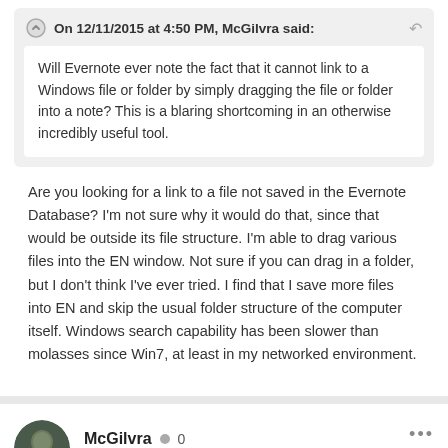On 12/11/2015 at 4:50 PM, McGilvra said:
Will Evernote ever note the fact that it cannot link to a Windows file or folder by simply dragging the file or folder into a note? This is a blaring shortcoming in an otherwise incredibly useful tool.
Are you looking for a link to a file not saved in the Evernote Database? I'm not sure why it would do that, since that would be outside its file structure. I'm able to drag various files into the EN window. Not sure if you can drag in a folder, but I don't think I've ever tried. I find that I save more files into EN and skip the usual folder structure of the computer itself. Windows search capability has been slower than molasses since Win7, at least in my networked environment.
McGilvra
0
Posted December 11, 2015